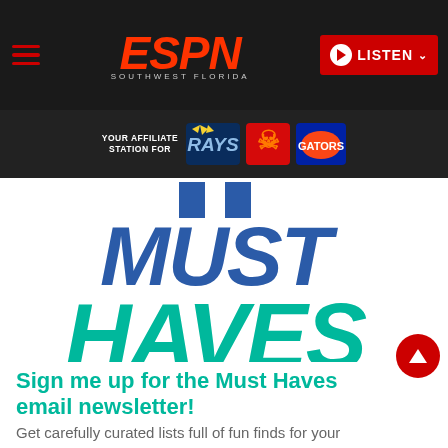ESPN Southwest Florida — LISTEN
[Figure (logo): ESPN Southwest Florida logo with affiliate stations: Rays, Buccaneers, Florida Gators]
[Figure (illustration): MUST HAVES large stylized text graphic in blue and teal]
Sign me up for the Must Haves email newsletter!
Get carefully curated lists full of fun finds for your